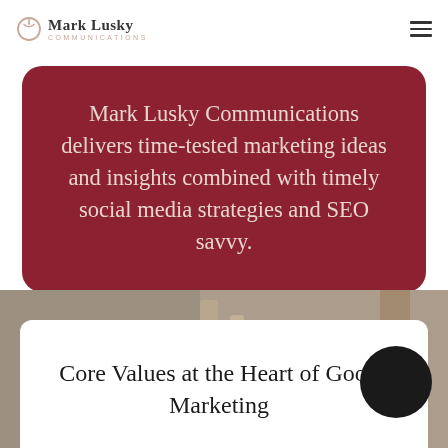Mark Lusky Communications
Mark Lusky Communications delivers time-tested marketing ideas and insights combined with timely social media strategies and SEO savvy.
[Figure (photo): Partial background photo of an indoor scene, blurred, with warm tones]
Core Values at the Heart of Good Marketing